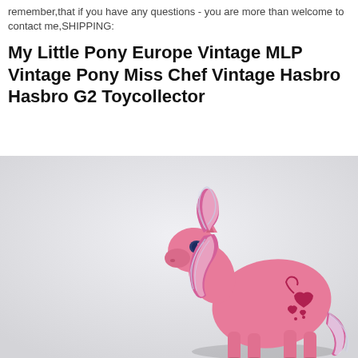remember,that if you have any questions - you are more than welcome to contact me,SHIPPING:
My Little Pony Europe Vintage MLP Vintage Pony Miss Chef Vintage Hasbro Hasbro G2 Toycollector
[Figure (photo): A pink My Little Pony G2 figurine (Miss Chef) with pink and silver tinsel mane and tail, blue eyes, and a heart/paw print cutie mark on its flank, photographed against a light gray background.]